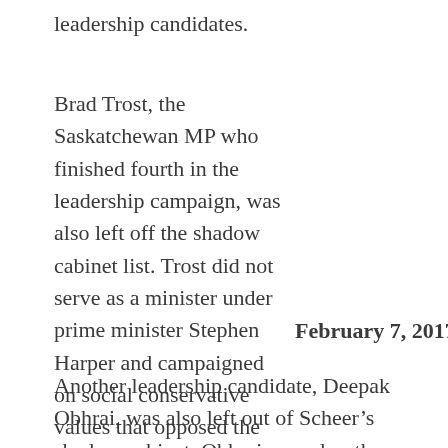leadership candidates.
Brad Trost, the Saskatchewan MP who finished fourth in the leadership campaign, was also left off the shadow cabinet list. Trost did not serve as a minister under prime minister Stephen Harper and campaigned on social conservative values that opposed the “gay lifestyle” and abortion.
February 7, 2017
Another leadership candidate, Deepak Obhrai, was also left out of Scheer’s shadow cabinet. Obhrai served as the parliamentary secretary to the minister of foreign affairs in the Harper government. (Source: CBC News)